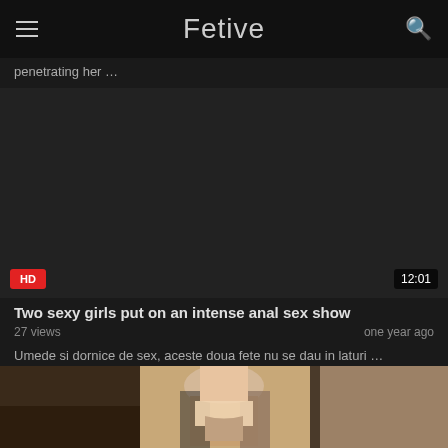Fetive
penetrating her …
[Figure (other): Dark video thumbnail placeholder with HD badge and 12:01 duration]
Two sexy girls put on an intense anal sex show
27 views   one year ago
Umede si dornice de sex, aceste doua fete nu se dau in laturi …
[Figure (photo): Bottom portion of next video thumbnail showing two people]